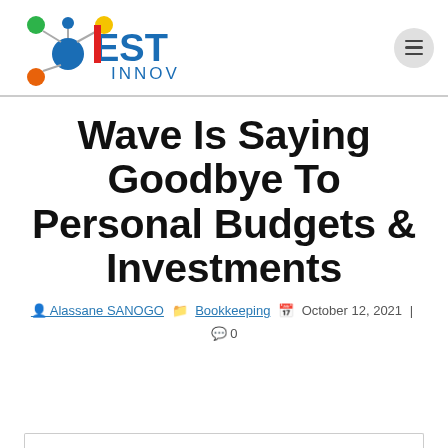[Figure (logo): EST INNOV logo with colorful network nodes graphic]
Wave Is Saying Goodbye To Personal Budgets & Investments
Alassane SANOGO  Bookkeeping  October 12, 2021 | 0